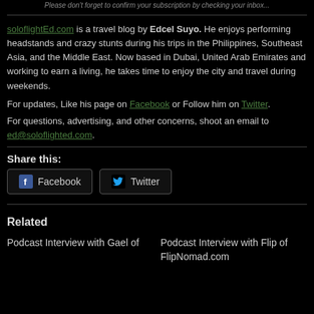Please don't forget to confirm your subscription by checking your inbox...
[Figure (photo): Photo of Edcel Suyo, a young man outdoors near a tree]
soloflightEd.com is a travel blog by Edcel Suyo. He enjoys performing headstands and crazy stunts during his trips in the Philippines, Southeast Asia, and the Middle East. Now based in Dubai, United Arab Emirates and working to earn a living, he takes time to enjoy the city and travel during weekends.
For updates, Like his page on Facebook or Follow him on Twitter.
For questions, advertising, and other concerns, shoot an email to ed@soloflighted.com.
Share this:
Facebook  Twitter
Related
Podcast Interview with Gael of
Podcast Interview with Flip of FlipNomad.com